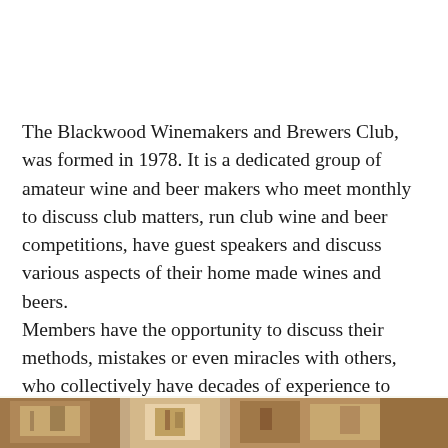The Blackwood Winemakers and Brewers Club, was formed in 1978. It is a dedicated group of amateur wine and beer makers who meet monthly to discuss club matters, run club wine and beer competitions, have guest speakers and discuss various aspects of their home made wines and beers.
Members have the opportunity to discuss their methods, mistakes or even miracles with others, who collectively have decades of experience to share.
[Figure (photo): A partial photo strip at the bottom of the page showing what appears to be wine/beer related items or a club gathering scene, partially cropped.]